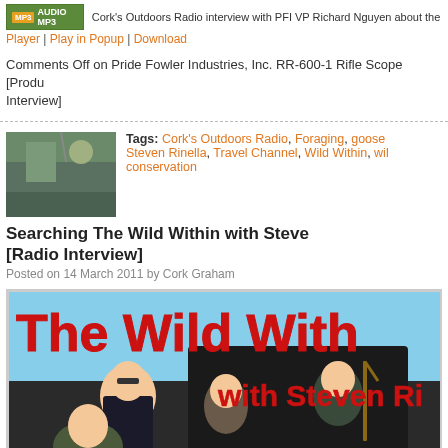Cork's Outdoors Radio interview with PFI VP Richard Nguyen about the RR-600 m
Player | Play in Popup | Download
Comments Off on Pride Fowler Industries, Inc. RR-600-1 Rifle Scope [Product Interview]
Tags: Cork's Outdoors Radio, Foraging, goose Steven Rinella, Travel Channel, Wild Within, wildlife conservation
Searching The Wild Within with Steven Rinella [Radio Interview]
Posted on 14 March 2011 by Cork Graham
[Figure (photo): Promotional image for The Wild Within with Steven Rinella TV show, showing red text title overlay on photo of group of men outdoors with rifles and bows]